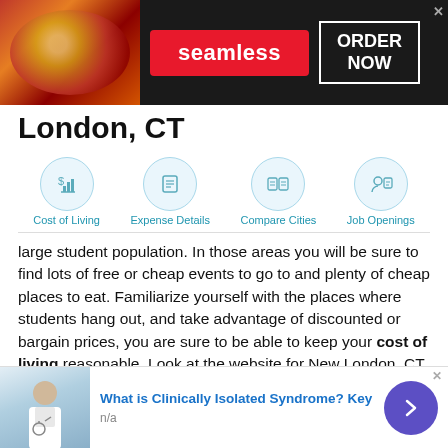[Figure (screenshot): Seamless food delivery advertisement banner with pizza image, red Seamless logo badge, and ORDER NOW button in white box on dark background]
London, CT
[Figure (infographic): Navigation icon row with four circular icons: Cost of Living (dollar sign with chart), Expense Details (document), Compare Cities (two documents), Job Openings (person with document). Each with light blue circle border and blue label text.]
large student population. In those areas you will be sure to find lots of free or cheap events to go to and plenty of cheap places to eat. Familiarize yourself with the places where students hang out, and take advantage of discounted or bargain prices, you are sure to be able to keep your cost of living reasonable. Look at the website for New London, CT to nd
This site uses cookies and other similar technologies to provide site functionality, analyze traffic and usage, and ibute
[Figure (screenshot): Bottom advertisement: doctor image on left, blue title 'What is Clinically Isolated Syndrome? Key', 'n/a' subtitle, purple circle arrow button on right]